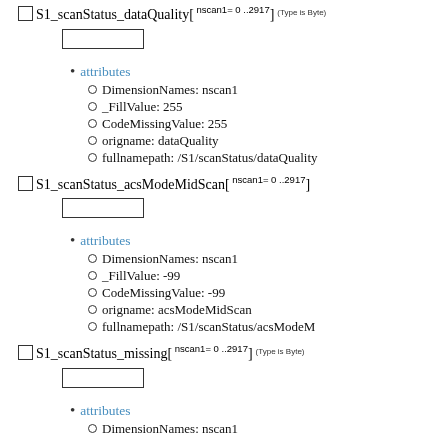S1_scanStatus_dataQuality[ nscan1= 0 ..2917] (Type is Byte)
attributes
DimensionNames: nscan1
_FillValue: 255
CodeMissingValue: 255
origname: dataQuality
fullnamepath: /S1/scanStatus/dataQuality
S1_scanStatus_acsModeMidScan[ nscan1= 0 ..2917]
attributes
DimensionNames: nscan1
_FillValue: -99
CodeMissingValue: -99
origname: acsModeMidScan
fullnamepath: /S1/scanStatus/acsModeM
S1_scanStatus_missing[ nscan1= 0 ..2917] (Type is Byte)
attributes
DimensionNames: nscan1